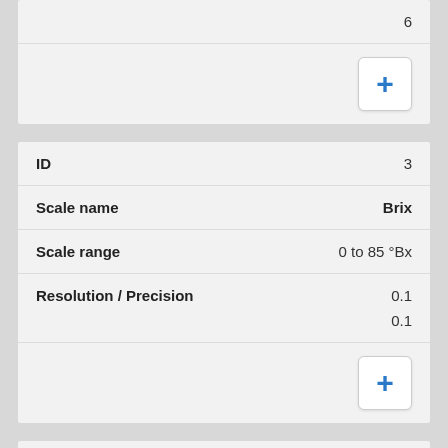|  | 6 |
|  | + |
| ID | 3 |
| Scale name | Brix |
| Scale range | 0 to 85 °Bx |
| Resolution / Precision | 0.1
0.1 |
|  | + |
| ID | 4 |
| Scale name | Brix |
| Scale range | 0 to 56 °Bx |